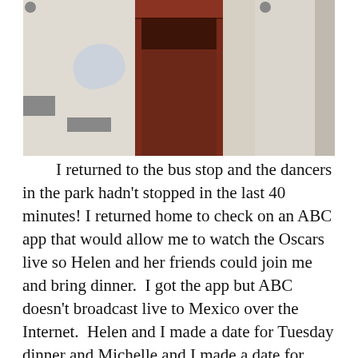[Figure (photo): Photograph of a building facade with a dark red ornate door in the center, white stucco walls, and a faint blue graffiti bird outline on the left wall.]
I returned to the bus stop and the dancers in the park hadn't stopped in the last 40 minutes! I returned home to check on an ABC app that would allow me to watch the Oscars live so Helen and her friends could join me and bring dinner.  I got the app but ABC doesn't broadcast live to Mexico over the Internet.  Helen and I made a date for Tuesday dinner and Michelle and I made a date for Wednesday Lunch.
I think I will join Richard at Casa Colonial Bed